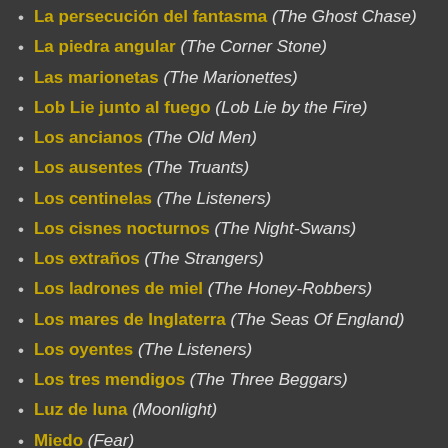La persecución del fantasma (The Ghost Chase)
La piedra angular (The Corner Stone)
Las marionetas (The Marionettes)
Lob Lie junto al fuego (Lob Lie by the Fire)
Los ancianos (The Old Men)
Los ausentes (The Truants)
Los centinelas (The Listeners)
Los cisnes nocturnos (The Night-Swans)
Los extraños (The Strangers)
Los ladrones de miel (The Honey-Robbers)
Los mares de Inglaterra (The Seas Of England)
Los oyentes (The Listeners)
Los tres mendigos (The Three Beggars)
Luz de luna (Moonlight)
Miedo (Fear)
Nod (Nod)
Novedades (News)